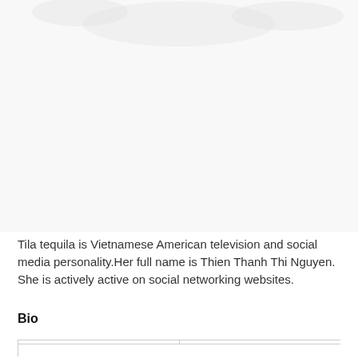[Figure (photo): Partial image visible at the top of the page, appears to be a cropped photograph with light/white tones]
Tila tequila is  Vietnamese American television and social media personality.Her full name is Thien Thanh Thi Nguyen. She is actively active on social networking websites.
Bio